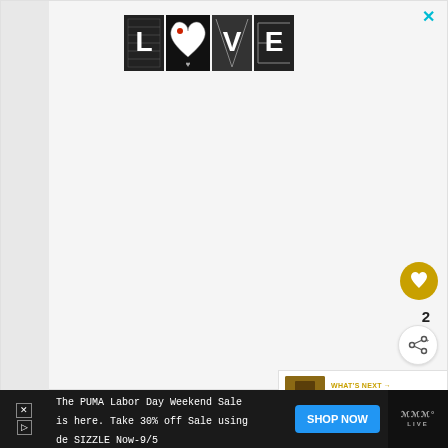[Figure (logo): LOVE text logo made of decorative illustrated letters in black and white with a red heart detail in the O]
×
[Figure (infographic): Golden circular like/heart button showing heart icon]
2
[Figure (infographic): White circular share button with share icon]
WHAT'S NEXT → How Much Space Shoul...
The PUMA Labor Day Weekend Sale is here. Take 30% off Sale using de SIZZLE Now-9/5
SHOP NOW